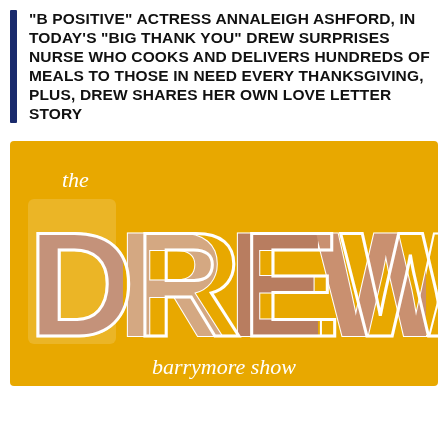"B POSITIVE" ACTRESS ANNALEIGH ASHFORD, IN TODAY'S "BIG THANK YOU" DREW SURPRISES NURSE WHO COOKS AND DELIVERS HUNDREDS OF MEALS TO THOSE IN NEED EVERY THANKSGIVING, PLUS, DREW SHARES HER OWN LOVE LETTER STORY
[Figure (logo): The Drew Barrymore Show logo on golden yellow background, with large letters DREW showing photos of Drew Barrymore inside each letter, text 'the' above in italic white, and 'barrymore show' below in italic white]